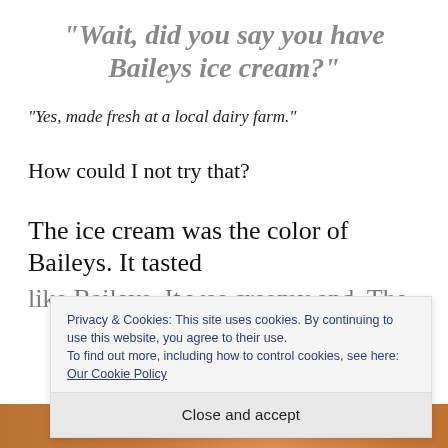“Wait, did you say you have Baileys ice cream?”
“Yes, made fresh at a local dairy farm.”
How could I not try that?
The ice cream was the color of Baileys. It tasted
like Baileys. It was creamy and. The
Privacy & Cookies: This site uses cookies. By continuing to use this website, you agree to their use.
To find out more, including how to control cookies, see here: Our Cookie Policy
Close and accept